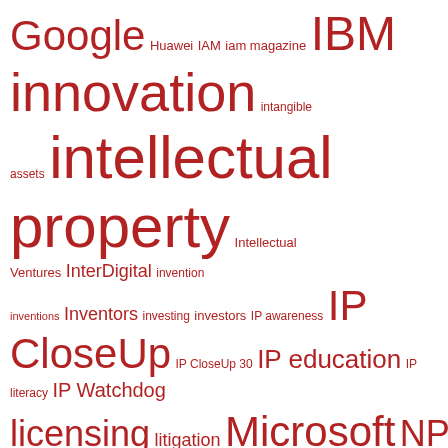[Figure (infographic): Word cloud of IP and patent-related terms in dark red/crimson color on white background. Terms sized by frequency: largest are 'intellectual property', 'patents', 'patent licensing', 'patent litigation', 'patents on wall street', 'Technology', 'innovation', 'IBM'; medium are 'Google', 'Microsoft', 'NPEs', 'patent', 'licensing', 'Samsung', 'IP CloseUp', 'patent trolls'; smaller are 'Huawei', 'IAM', 'iam magazine', 'intangible assets', 'Intellectual Ventures', 'InterDigital', 'invention', 'inventions', 'Inventors', 'investing', 'investors', 'IP awareness', 'IP CloseUp 30', 'IP education', 'IP literacy', 'IP Watchdog', 'litigation', 'patent quality', 'patent transactions', 'Philips', 'PIPCOs', 'PTAB', 'Qualcomm', 'R&D', 'Rambus', 'royalties', 'RPX', 'S&P 500', 'Silicon Valley', 'Software', 'Spotify', 'Tessera', 'The Intangible Investor', 'The New York Times', 'trademarks']